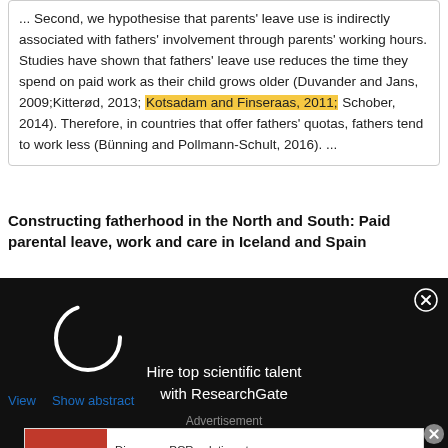... Second, we hypothesise that parents' leave use is indirectly associated with fathers' involvement through parents' working hours. Studies have shown that fathers' leave use reduces the time they spend on paid work as their child grows older (Duvander and Jans, 2009;Kitterød, 2013; Kotsadam and Finseraas, 2011; Schober, 2014). Therefore, in countries that offer fathers' quotas, fathers tend to work less (Bünning and Pollmann-Schult, 2016). ...
Constructing fatherhood in the North and South: Paid parental leave, work and care in Iceland and Spain
[Figure (other): Black overlay advertisement panel reading 'Hire top scientific talent with ResearchGate' with a loading spinner on the left and a close button (X) on the top right.]
View   Show abstract
Advertisement
[Figure (other): ThermoFisher Scientific banner ad: 'Discover qPCR solutions to empower your research' with a Watch now button.]